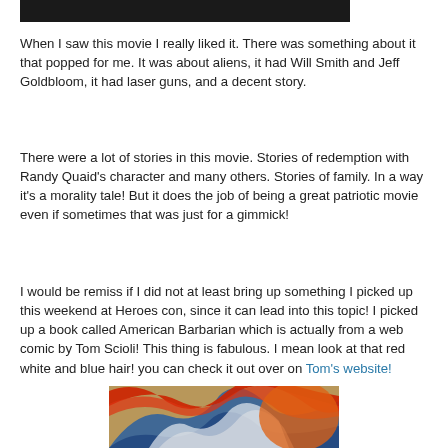[Figure (other): Dark/black banner image at top of page]
When I saw this movie I really liked it.  There was something about it that popped for me.  It was about aliens, it had Will Smith and Jeff Goldbloom, it had laser guns, and a decent story.
There were a lot of stories in this movie.  Stories of redemption with Randy Quaid's character and many others.  Stories of family.  In a way it's a morality tale!  But it does the job of being a great patriotic movie even if sometimes that was just for a gimmick!
I would be remiss if I did not at least bring up something I picked up this weekend at Heroes con, since it can lead into this topic!  I picked up a book called American Barbarian which is actually from a web comic by Tom Scioli!  This thing is fabulous.  I mean look at that red white and blue hair!  you can check it out over on Tom's website!
[Figure (illustration): Bottom portion of colorful American Barbarian comic book cover with red, white, blue hair and orange/tan background]